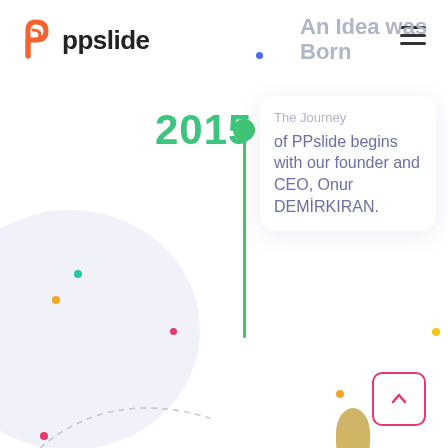[Figure (logo): PPslide logo with orange P icon and bold 'ppslide' text]
An Idea was Born
The journey of PPslide begins with our founder and CEO, Onur DEMİRKIRAN.
[Figure (infographic): Timeline showing year 2015 with a vertical green line and green circle marker]
[Figure (illustration): Decorative colored dots and blob shapes on white background]
[Figure (other): Back-to-top button with orange border and upward chevron]